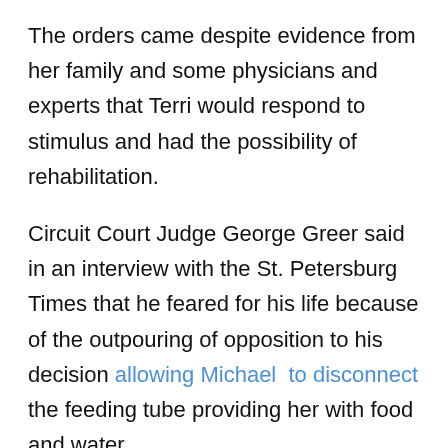The orders came despite evidence from her family and some physicians and experts that Terri would respond to stimulus and had the possibility of rehabilitation.
Circuit Court Judge George Greer said in an interview with the St. Petersburg Times that he feared for his life because of the outpouring of opposition to his decision allowing Michael to disconnect the feeding tube providing her with food and water.
“I wore a bulletproof vest for months,” Greer said. About defending himself in public, he said, “I knew I couldn’t. Was it hard? Yeah, it was hard, but I knew I